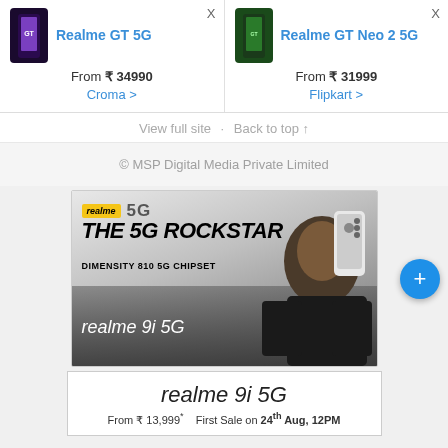Realme GT 5G — From ₹ 34990 — Croma >
Realme GT Neo 2 5G — From ₹ 31999 — Flipkart >
View full site · Back to top ↑
© MSP Digital Media Private Limited
[Figure (photo): Realme 9i 5G advertisement banner showing 'THE 5G ROCKSTAR' with 'DIMENSITY 810 5G CHIPSET', realme logo, 5G badge in yellow, and a person in black jacket holding a phone]
realme 9i 5G — From ₹ 13,999* — First Sale on 24th Aug, 12PM